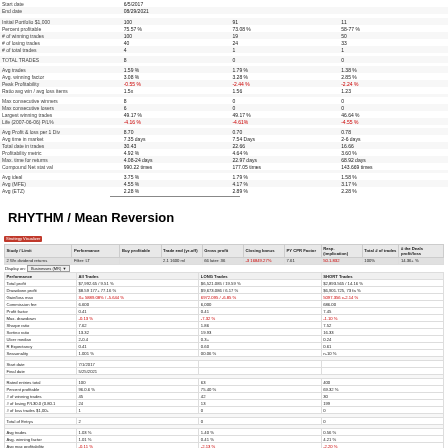|  | All Trades | LONG Trades | SHORT Trades |
| --- | --- | --- | --- |
| Start date | 6/5/2017 |  |  |
| End date | 08/29/2021 |  |  |
| Initial Portfolio $1,000 | 100 | 91 | 11 |
| Percent profitable | 75.57 % | 73.08 % | 58.77 % |
| # of winning trades | 100 | 19 | 50 |
| # of losing trades | 40 | 24 | 33 |
| # of total trades | 4 | 1 | 1 |
| TOTAL TRADES | 8 | 0 | 0 |
| Avg trades | 1.59 % | 1.79 % | 1.38 % |
| Avg. winning factor | 3.08 % | 3.28 % | 2.85 % |
| Peak Profitability | -0.55 % | -2.44 % | -2.24 % |
| Ratio avg win / avg loss | 1.5x | 1.56 | 1.23 |
| Max consecutive winners | 8 | 0 | 0 |
| Max consecutive losers | 6 | 0 | 0 |
| Largest winning trades | 49.17 % | 49.17 % | 46.64 % |
| Life (2007-06-06) P/L% | -4.16 % | -4.61% | -4.55 % |
| Avg Profit & loss per 1 Div | 8.70 | 0.70 | 0.78 |
| Avg time in market | 7.35 days | 7.54 days | 2-6 days |
| Total date in trades | 30.43 | 22.66 | 16.66 |
| Profitability metric | 4.92 % | 4.64 % | 3.60 % |
| Max. time for returns | 4.08-24 days | 22.97 days | 68.92 days |
| Compound Net stat val | 990.22 times | 177.05 times | 143.669 times |
| Avg ideal | 3.75 % | 1.79 % | 1.58 % |
| Avg (MFE) | 4.55 % | 4.17 % | 3.17 % |
| Avg (ETZ) | 2.28 % | 2.89 % | 2.28 % |
RHYTHM / Mean Reversion
| Study / Limit | Performance | Buy profitable | Trade end (yr-off) | Gross profit | Closing bonus | PY CPR Factor | Resp. (implication) | Total # of trades | # the Deals profit/loss |
| --- | --- | --- | --- | --- | --- | --- | --- | --- | --- |
| 2 Wn dividend returns | Filter: LT |  | 2.1 1600 ml | 68 later: 36 | -3 16849.27% | 7.61 | 50.1.832 | 100% | 14.36+ % |
| Display on: Businesses (MR) |  |  |  |  |  |  |  |  |  |
| Performance | All Trades |  |  | LONG Trades |  |  | SHORT Trades |  |  |
| Total profit | $7,992.65 / 9.51 % |  |  | $6,521.085 / 19.59 % |  |  | $2,893.565 / 14.16 % |  |  |
| Drawdown profit | $8.59 177+ 77.16 % |  |  | $9,673.086 / 6.17 % |  |  | $6,901.725, 73 fa % |  |  |
| Gain/loss max | X= 5889.08% / -5.644 % |  |  | 6972.095 / -6.85 % |  |  | 5097.356 x-2.14 % |  |  |
| Commission fee | 6.600 |  |  | 6,000 |  |  | 686.00 |  |  |
| Profit factor | 0.41 |  |  | 0.41 |  |  | 7.45 |  |  |
| Max. drawdown | -0.13 % |  |  | -7.32 % |  |  | -1.10 % |  |  |
| Sharpe ratio | 7.62 |  |  | 1.86 |  |  | 7.52 |  |  |
| Sortino ratio | 13.32 |  |  | 19.93 |  |  | 16.33 |  |  |
| Ulcer median | 2-0.4 |  |  | 0.3+ |  |  | 0.24 |  |  |
| R Expectancy | 0.41 |  |  | 0.60 |  |  | 0.61 |  |  |
| Seasonality | 1.001 % |  |  | 00.06 % |  |  | n-10 % |  |  |
| Start date | 7/1/2017 |  |  |  |  |  |  |  |  |
| Final date | 5/25/2021 |  |  |  |  |  |  |  |  |
| Rated entries total | 100 |  |  | 63 |  |  | 400 |  |  |
| Percent profitable | 96.0.6 % |  |  | 75.40 % |  |  | 69.32 % |  |  |
| # of winning trades | 45 |  |  | 42 |  |  | 30 |  |  |
| # of losing P/L30.0 (0.80.1 | 24 |  |  | 13 |  |  | 199 |  |  |
| # of loss trades $1,00+ | 1 |  |  | 0 |  |  | 0 |  |  |
| Total of Entrys | 2 |  |  | 0 |  |  | 0 |  |  |
| Avg trades | 1.03 % |  |  | 1.40 % |  |  | 0.56 % |  |  |
| Avg. winning factor | 1.01 % |  |  | 0.41 % |  |  | 4.21 % |  |  |
| Avg max profitability | -0.11 % |  |  | -2.13 % |  |  | -2.20 % |  |  |
| Ratio avg / avg loss items | 1.43 |  |  | 1.99 |  |  | 2.11 |  |  |